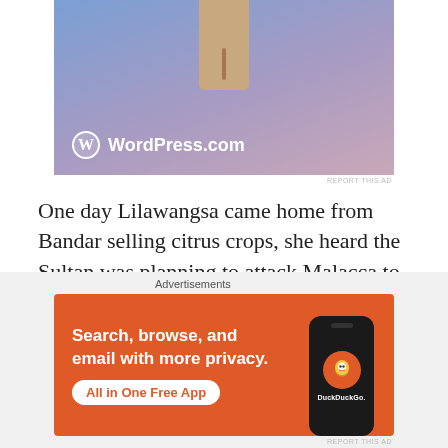[Figure (screenshot): WordPress.com advertisement banner with gradient blue-purple background and a tan/gold credit-card-like object at top, WordPress logo and 'WordPress.com' text at bottom-left]
REPORT THIS AD
One day Lilawangsa came home from Bandar selling citrus crops, she heard the Sultan was planning to attack Malacca to liberate the peninsula from the Portuguese, this was a golden opportunity to change fate when he invited Syahbudin and Syahmiun to register as soldiers. They refused, lazy they said, after all, we love peace,
Advertisements
[Figure (screenshot): DuckDuckGo advertisement with orange background. Text reads 'Search, browse, and email with more privacy. All in One Free App' with a DuckDuckGo logo on a phone mockup on the right.]
REPORT THIS AD